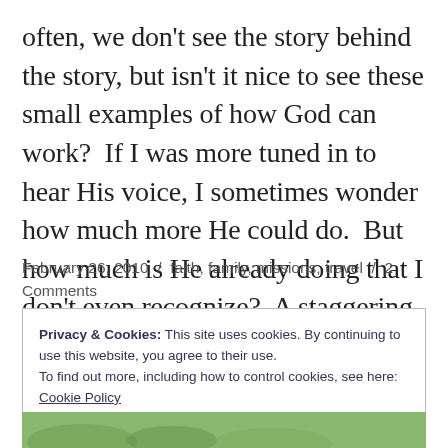often, we don't see the story behind the story, but isn't it nice to see these small examples of how God can work?  If I was more tuned in to hear His voice, I sometimes wonder how much more He could do.  But how much is He already doing that I don't even recognize?  A staggering thought...
February 26, 2010  /  faith, family, missions, travel  /  2 Comments
Privacy & Cookies: This site uses cookies. By continuing to use this website, you agree to their use.
To find out more, including how to control cookies, see here:
Cookie Policy
Close and accept
[Figure (photo): Partial photo strip at bottom showing greenery and a person]